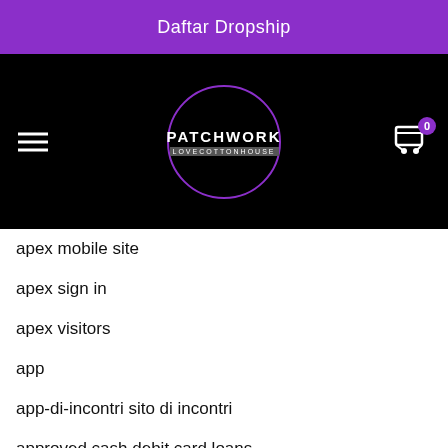Daftar Dropship
[Figure (logo): Patchwork Lovecottonhouse logo in a purple circle on black navigation bar with hamburger menu and cart icon]
apex mobile site
apex sign in
apex visitors
app
app-di-incontri sito di incontri
approved cash debit card loans
approved cash sign in
apps to hookup